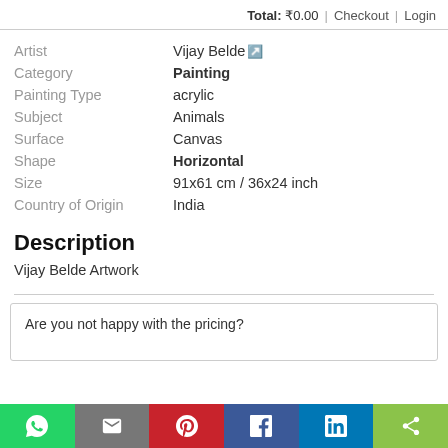Total: ₹0.00  |  Checkout  |  Login
| Artist | Vijay Belde↗ |
| Category | Painting |
| Painting Type | acrylic |
| Subject | Animals |
| Surface | Canvas |
| Shape | Horizontal |
| Size | 91x61 cm / 36x24 inch |
| Country of Origin | India |
Description
Vijay Belde Artwork
Are you not happy with the pricing?